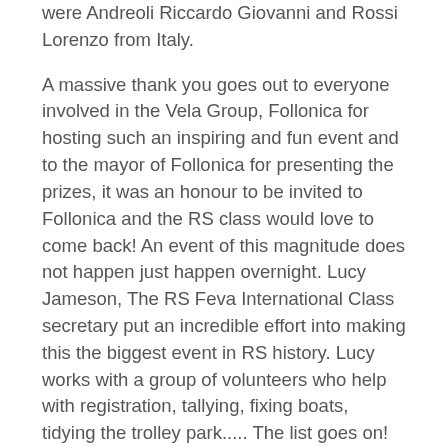were Andreoli Riccardo Giovanni and Rossi Lorenzo from Italy.
A massive thank you goes out to everyone involved in the Vela Group, Follonica for hosting such an inspiring and fun event and to the mayor of Follonica for presenting the prizes, it was an honour to be invited to Follonica and the RS class would love to come back! An event of this magnitude does not happen just happen overnight. Lucy Jameson, The RS Feva International Class secretary put an incredible effort into making this the biggest event in RS history. Lucy works with a group of volunteers who help with registration, tallying, fixing boats, tidying the trolley park..... The list goes on!
In the famous words of Winne the Pooh, “we didn’t know we were making memories, we just knew we were having fun!”
As the sun sets in Follonica, RS looks forward to